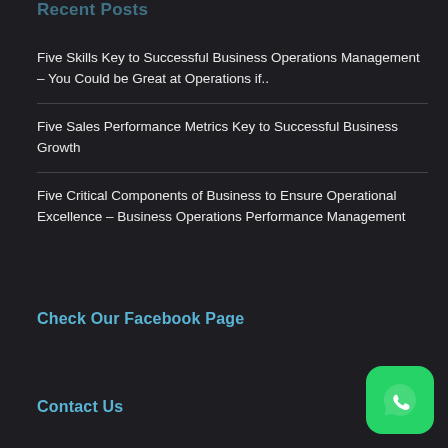Recent Posts
Five Skills Key to Successful Business Operations Management – You Could be Great at Operations if..
Five Sales Performance Metrics Key to Successful Business Growth
Five Critical Components of Business to Ensure Operational Excellence – Business Operations Performance Management
Check Our Facebook Page
Contact Us
[Figure (logo): WhatsApp icon — green rounded square with white speech bubble phone logo]